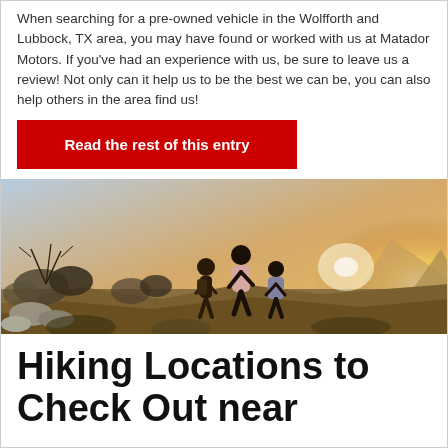When searching for a pre-owned vehicle in the Wolfforth and Lubbock, TX area, you may have found or worked with us at Matador Motors. If you've had an experience with us, be sure to leave us a review! Not only can it help us to be the best we can be, you can also help others in the area find us!
Read the rest of this entry
[Figure (photo): Three people hiking on a hillside at sunset with golden light and dry vegetation]
Hiking Locations to Check Out near